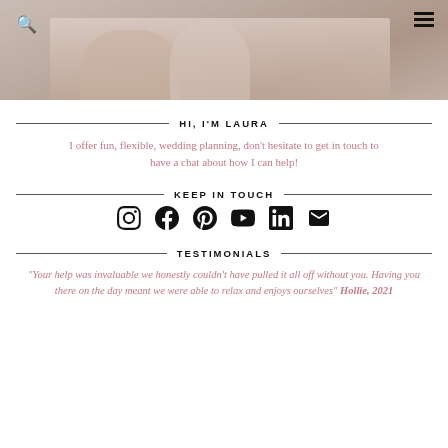[Figure (photo): Header image showing a person holding a baby, partially visible at the top of the page with navigation icons (search and hamburger menu)]
HI, I'M LAURA
I offer fun, flexible, wedding planning, don't hesitate to get in touch to have a chat about how I can help!
KEEP IN TOUCH
[Figure (illustration): Social media icons row: Instagram, Facebook, Pinterest, YouTube, LinkedIn, Email]
TESTIMONIALS
“Your help was invaluable we honestly couldn’t have pulled it all off without you. Having you there on the day meant we were able to relax and enjoys ourselves” Hollie, 2021